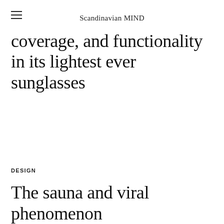Scandinavian MIND
coverage, and functionality in its lightest ever sunglasses
DESIGN
The sauna and viral phenomenon